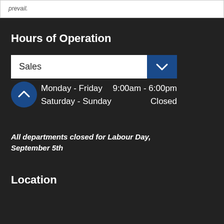prevail.
Hours of Operation
Sales
Monday - Friday   9:00am - 6:00pm
Saturday - Sunday   Closed
All departments closed for Labour Day, September 5th
Location